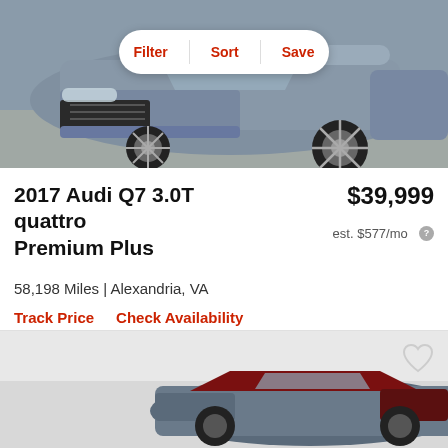[Figure (photo): Front view of a silver 2017 Audi Q7 SUV with filter/sort/save navigation bar overlay]
Filter  Sort  Save
2017 Audi Q7 3.0T quattro Premium Plus
$39,999
est. $577/mo
58,198 Miles | Alexandria, VA
Track Price  Check Availability
[Figure (photo): Partial view of a second car listing showing a dark-colored vehicle on grey background]